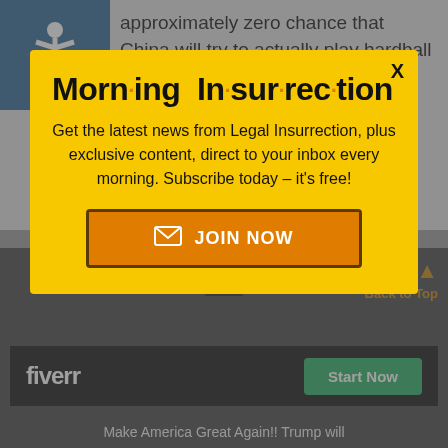approximately zero chance that China will try to actually play hardball on trade.
And because this is so obvious, by even making noise about a united front with
[Figure (infographic): Morning Insurrection newsletter popup modal with yellow background. Title: 'Morn·ing In·sur·rec·tion'. Body text: 'Get the latest news from Legal Insurrection, plus exclusive content, direct to your inbox every morning. Subscribe today – it's free!' Orange JOIN NOW button with envelope icon. X close button top right.]
[Figure (infographic): Fiverr advertisement banner. Black background with white Fiverr logo on left and green Start Now button on right.]
Make America Great Again!! Trump will